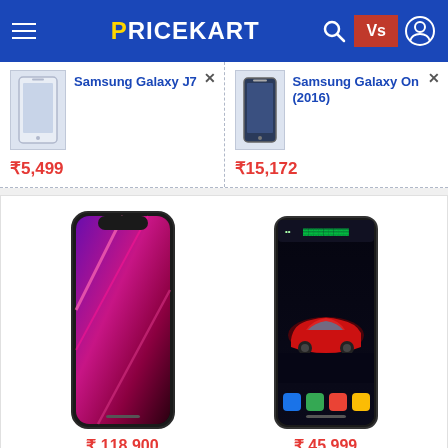PRICEKART
[Figure (screenshot): Samsung Galaxy J7 product thumbnail small white phone]
Samsung Galaxy J7
₹5,499
[Figure (screenshot): Samsung Galaxy On7 (2016) product thumbnail small dark phone]
Samsung Galaxy On7 (2016)
₹15,172
[Figure (photo): Apple iPhone 13 Pro Max front view with purple/red gradient wallpaper]
₹ 118,900
[Figure (photo): Tesla Phone front view with car wallpaper and app icons]
₹ 45,999
Apple iPhone 13 Pro Max vs Tesla Phone
[Figure (photo): Bottom product card showing two more phones partially visible]